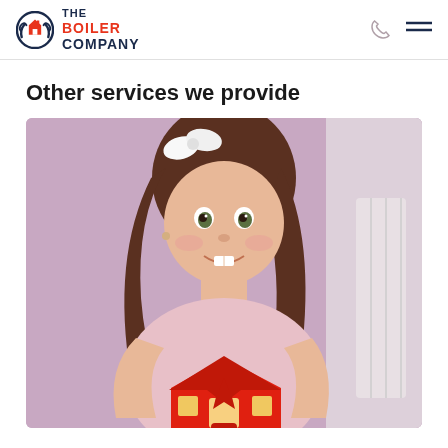THE BOILER COMPANY
Other services we provide
[Figure (photo): Young girl with brown hair and a white bow smiling, wearing a pink top, holding a red toy house shape, against a pink/purple background]